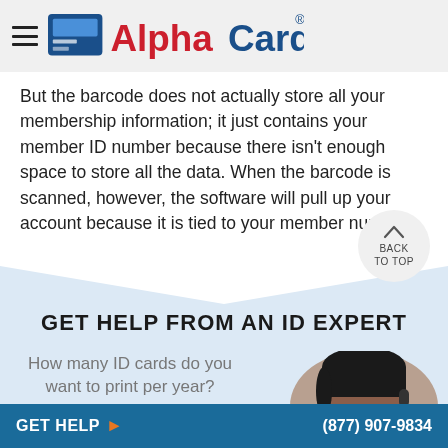AlphaCard
But the barcode does not actually store all your membership information; it just contains your member ID number because there isn't enough space to store all the data. When the barcode is scanned, however, the software will pull up your account because it is tied to your member number.
GET HELP FROM AN ID EXPERT
How many ID cards do you want to print per year?
[Figure (photo): Headshot of a customer service representative]
GET HELP  (877) 907-9834